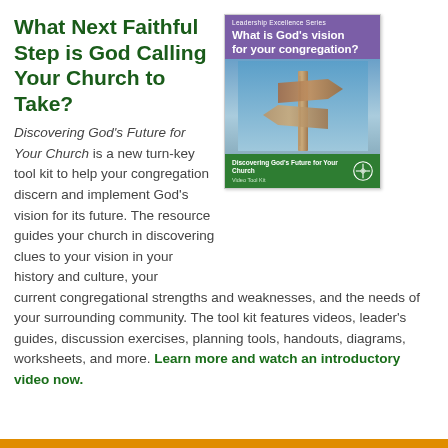What Next Faithful Step is God Calling Your Church to Take?
[Figure (illustration): Book cover for 'Discovering God's Future for Your Church Video Tool Kit' from the Leadership Excellence Series, showing wooden signposts against a blue sky, with a purple header and green footer containing the title and a cross logo.]
Discovering God's Future for Your Church is a new turn-key tool kit to help your congregation discern and implement God's vision for its future. The resource guides your church in discovering clues to your vision in your history and culture, your current congregational strengths and weaknesses, and the needs of your surrounding community. The tool kit features videos, leader's guides, discussion exercises, planning tools, handouts, diagrams, worksheets, and more. Learn more and watch an introductory video now.